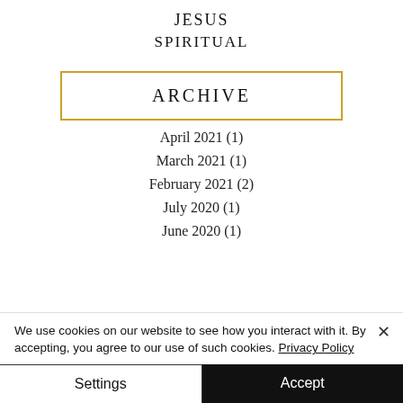JESUS
SPIRITUAL
ARCHIVE
April 2021 (1)
March 2021 (1)
February 2021 (2)
July 2020 (1)
June 2020 (1)
We use cookies on our website to see how you interact with it. By accepting, you agree to our use of such cookies. Privacy Policy
Settings
Accept